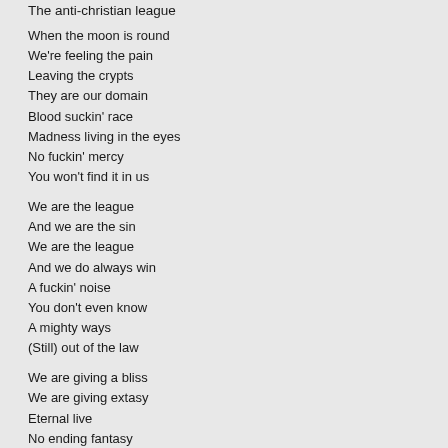The anti-christian league
When the moon is round
We're feeling the pain
Leaving the crypts
They are our domain
Blood suckin' race
Madness living in the eyes
No fuckin' mercy
You won't find it in us
We are the league
And we are the sin
We are the league
And we do always win
A fuckin' noise
You don't even know
A mighty ways
(Still) out of the law
We are giving a bliss
We are giving extasy
Eternal live
No ending fantasy
Joy on the earth
Joy in the hell
Unite with the league